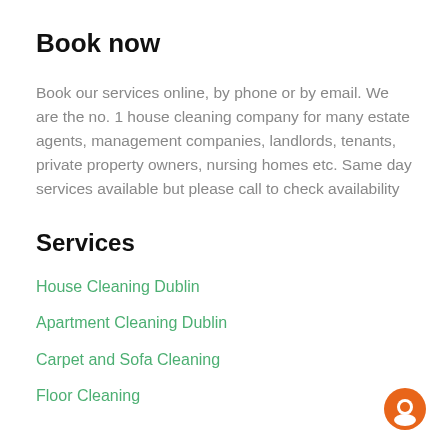Book now
Book our services online, by phone or by email. We are the no. 1 house cleaning company for many estate agents, management companies, landlords, tenants, private property owners, nursing homes etc. Same day services available but please call to check availability
Services
House Cleaning Dublin
Apartment Cleaning Dublin
Carpet and Sofa Cleaning
Floor Cleaning